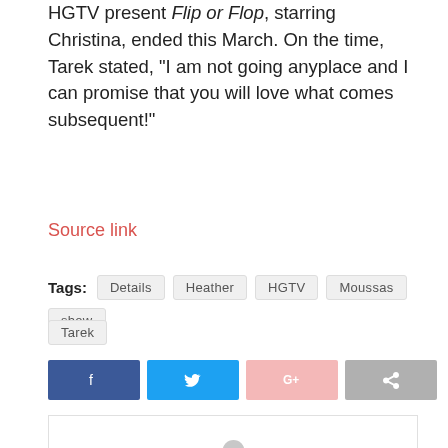HGTV present Flip or Flop, starring Christina, ended this March. On the time, Tarek stated, “I am not going anyplace and I can promise that you will love what comes subsequent!”
Source link
Tags: Details  Heather  HGTV  Moussas  show  Tarek
[Figure (other): Social sharing buttons: Facebook, Twitter, Google+, Share]
[Figure (other): User avatar placeholder circle icon in a bordered box]